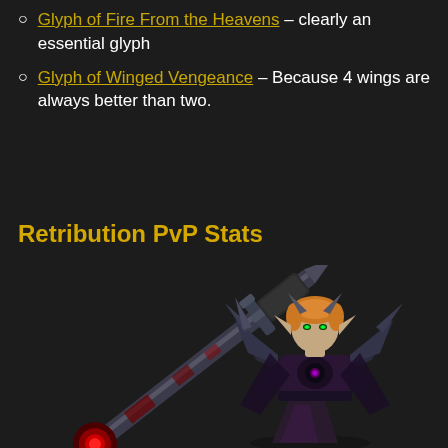Glyph of Fire From the Heavens – clearly an essential glyph
Glyph of Winged Vengeance – Because 4 wings are always better than two.
Retribution PvP Stats
[Figure (illustration): A Blood Elf retribution paladin character from World of Warcraft, holding a large dark two-handed sword with red glowing accents, wearing dark plate armor with wing-shaped shoulder pieces. The character has short orange hair, pointed ears, and glowing green eyes.]